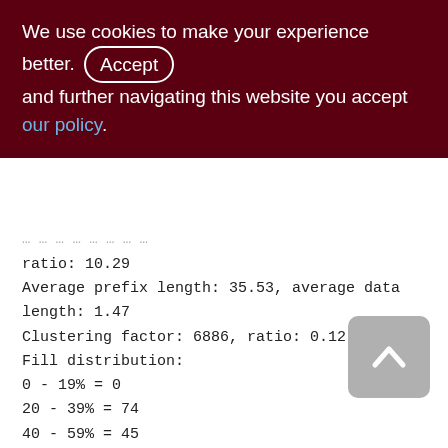We use cookies to make your experience better. By accepting and further navigating this website you accept our policy.
ratio: 10.29
Average prefix length: 35.53, average data length: 1.47
Clustering factor: 6886, ratio: 0.12
Fill distribution:
0 - 19% = 0
20 - 39% = 74
40 - 59% = 45
60 - 79% = 3
80 - 99% = 0

XQD_2000_3300 (263)
[Figure (other): Scroll-to-top button, a grey rounded square with an upward-pointing chevron arrow icon.]